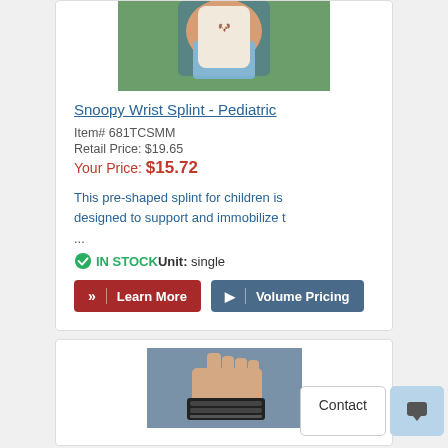[Figure (photo): Photo of a child holding a Snoopy wrist splint (pediatric orthopedic product)]
Snoopy Wrist Splint - Pediatric
Item# 681TCSMM
Retail Price: $19.65
Your Price: $15.72
This pre-shaped splint for children is designed to support and immobilize t ...
IN STOCK Unit: single
[Figure (photo): Photo of a wrist brace/splint on a hand raised upward, showing black straps and support structure]